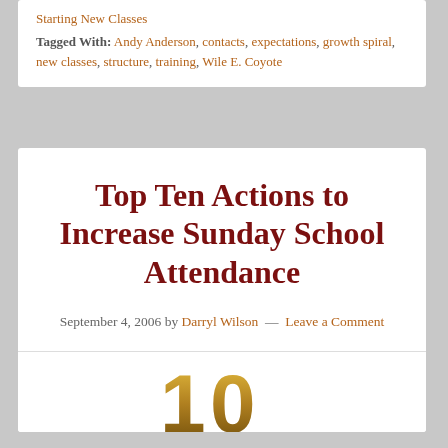Starting New Classes
Tagged With: Andy Anderson, contacts, expectations, growth spiral, new classes, structure, training, Wile E. Coyote
Top Ten Actions to Increase Sunday School Attendance
September 4, 2006 by Darryl Wilson — Leave a Comment
[Figure (illustration): Large stylized gold/brown number '10' illustration]